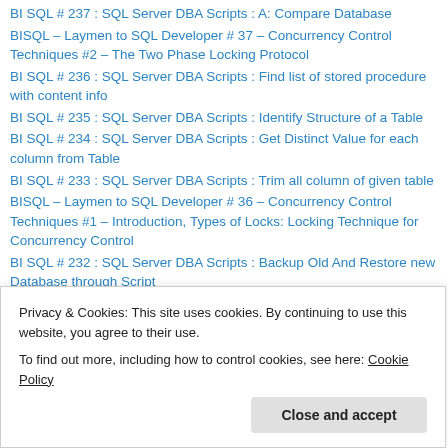BI SQL # 237 : SQL Server DBA Scripts : A: Compare Database
BISQL – Laymen to SQL Developer # 37 – Concurrency Control Techniques #2 – The Two Phase Locking Protocol
BI SQL # 236 : SQL Server DBA Scripts : Find list of stored procedure with content info
BI SQL # 235 : SQL Server DBA Scripts : Identify Structure of a Table
BI SQL # 234 : SQL Server DBA Scripts : Get Distinct Value for each column from Table
BI SQL # 233 : SQL Server DBA Scripts : Trim all column of given table
BISQL – Laymen to SQL Developer # 36 – Concurrency Control Techniques #1 – Introduction, Types of Locks: Locking Technique for Concurrency Control
BI SQL # 232 : SQL Server DBA Scripts : Backup Old And Restore new Database through Script
Privacy & Cookies: This site uses cookies. By continuing to use this website, you agree to their use. To find out more, including how to control cookies, see here: Cookie Policy